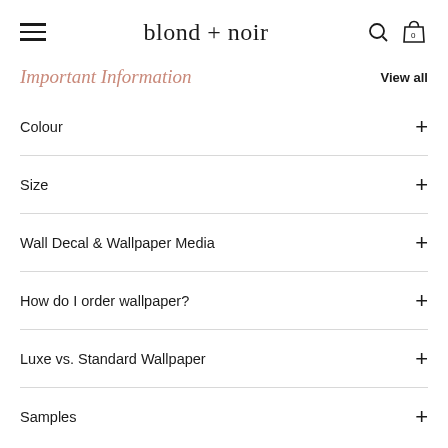blond + noir
Important Information
View all
Colour
Size
Wall Decal & Wallpaper Media
How do I order wallpaper?
Luxe vs. Standard Wallpaper
Samples